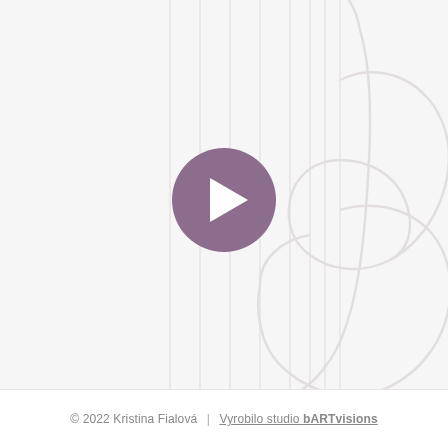[Figure (illustration): Website screenshot showing a light gray/white background with thin vertical lines on the left half, a large decorative letter 'b' outline in very light gray on the right half, and a purple circular play button centered in the middle of the composition.]
© 2022 Kristina Fialová  |  Vyrobilo studio bARTvisions